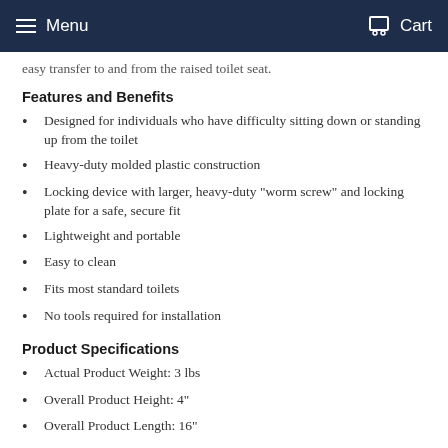Menu   Cart
easy transfer to and from the raised toilet seat.
Features and Benefits
Designed for individuals who have difficulty sitting down or standing up from the toilet
Heavy-duty molded plastic construction
Locking device with larger, heavy-duty "worm screw" and locking plate for a safe, secure fit
Lightweight and portable
Easy to clean
Fits most standard toilets
No tools required for installation
Product Specifications
Actual Product Weight: 3 lbs
Overall Product Height: 4"
Overall Product Length: 16"